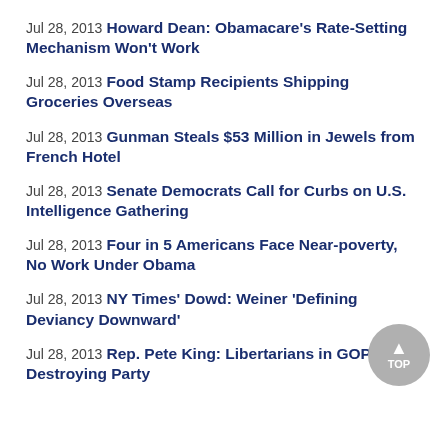Jul 28, 2013 Howard Dean: Obamacare's Rate-Setting Mechanism Won't Work
Jul 28, 2013 Food Stamp Recipients Shipping Groceries Overseas
Jul 28, 2013 Gunman Steals $53 Million in Jewels from French Hotel
Jul 28, 2013 Senate Democrats Call for Curbs on U.S. Intelligence Gathering
Jul 28, 2013 Four in 5 Americans Face Near-poverty, No Work Under Obama
Jul 28, 2013 NY Times' Dowd: Weiner 'Defining Deviancy Downward'
Jul 28, 2013 Rep. Pete King: Libertarians in GOP Risk Destroying Party